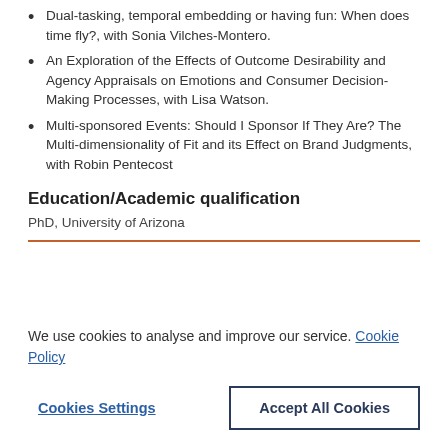Dual-tasking, temporal embedding or having fun: When does time fly?, with Sonia Vilches-Montero.
An Exploration of the Effects of Outcome Desirability and Agency Appraisals on Emotions and Consumer Decision-Making Processes, with Lisa Watson.
Multi-sponsored Events: Should I Sponsor If They Are? The Multi-dimensionality of Fit and its Effect on Brand Judgments, with Robin Pentecost
Education/Academic qualification
PhD, University of Arizona
We use cookies to analyse and improve our service. Cookie Policy
Cookies Settings
Accept All Cookies